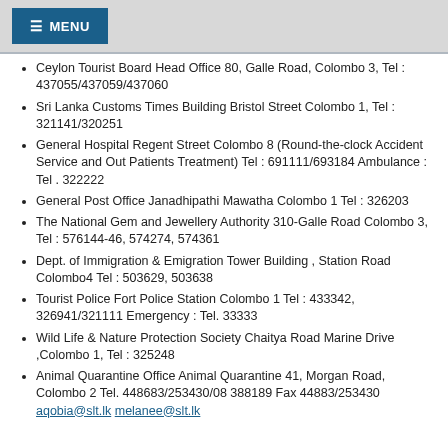≡ MENU
Ceylon Tourist Board Head Office 80, Galle Road, Colombo 3, Tel : 437055/437059/437060
Sri Lanka Customs Times Building Bristol Street Colombo 1, Tel : 321141/320251
General Hospital Regent Street Colombo 8 (Round-the-clock Accident Service and Out Patients Treatment) Tel : 691111/693184 Ambulance : Tel . 322222
General Post Office Janadhipathi Mawatha Colombo 1 Tel : 326203
The National Gem and Jewellery Authority 310-Galle Road Colombo 3, Tel : 576144-46, 574274, 574361
Dept. of Immigration & Emigration Tower Building , Station Road Colombo4 Tel : 503629, 503638
Tourist Police Fort Police Station Colombo 1 Tel : 433342, 326941/321111 Emergency : Tel. 33333
Wild Life & Nature Protection Society Chaitya Road Marine Drive ,Colombo 1, Tel : 325248
Animal Quarantine Office Animal Quarantine 41, Morgan Road, Colombo 2 Tel. 448683/253430/08 388189 Fax 44883/253430 aqobia@slt.lk melanee@slt.lk